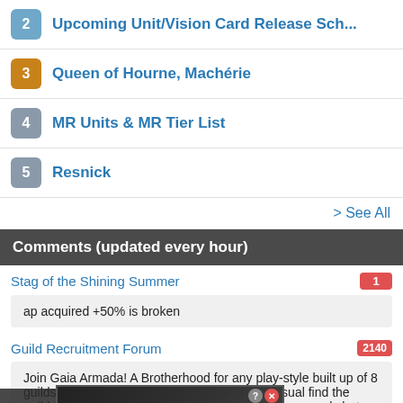2  Upcoming Unit/Vision Card Release Sch...
3  Queen of Hourne, Machérie
4  MR Units & MR Tier List
5  Resnick
> See All
Comments (updated every hour)
Stag of the Shining Summer
ap acquired +50% is broken
Guild Recruitment Forum
Join Gaia Armada! A Brotherhood for any play-style built up of 8 guilds. From highly competitive gvg to semi-casual find the guild that's perfect for you. Wh... ls but a brother... helps